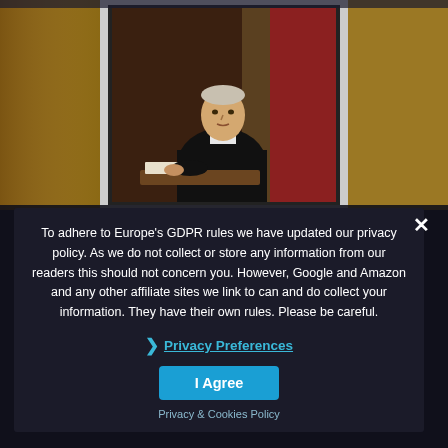[Figure (photo): Portrait painting of a man in dark formal attire, seated, with brownish/red draped background — likely a US President official portrait. Aged manuscript/parchment texture visible on sides.]
President: John Quincy Adams March 4, 1829
Political Party: Democratic-Republican
Vice President: John C. Calhoun (Resigned from Office)
To adhere to Europe's GDPR rules we have updated our privacy policy. As we do not collect or store any information from our readers this should not concern you. However, Google and Amazon and any other affiliate sites we link to can and do collect your information. They have their own rules. Please be careful.
❯ Privacy Preferences
I Agree
Privacy & Cookies Policy